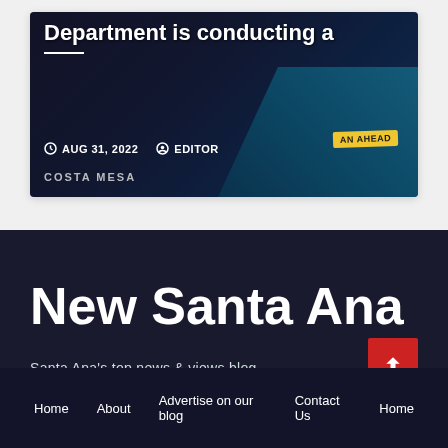[Figure (screenshot): Article card with dark racing image background, white bold headline text reading 'Department is conducting a', date 'AUG 31, 2022' and author 'EDITOR', location tag 'COSTA MESA']
New Santa Ana
Santa Ana's top news & views blog
Home  About  Advertise on our blog  Contact Us  Home